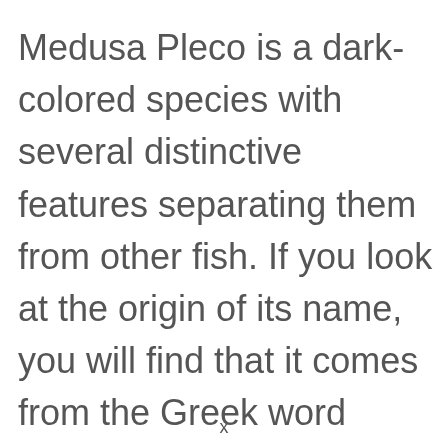Medusa Pleco is a dark-colored species with several distinctive features separating them from other fish. If you look at the origin of its name, you will find that it comes from the Greek word agkistron, a reference to its interpercular odontodes covering the mouth.
x